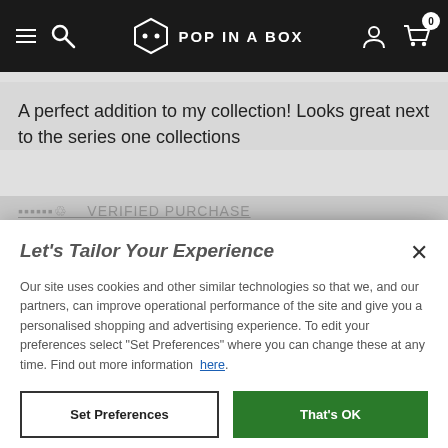[Figure (screenshot): Top navigation bar of Pop In A Box website with hamburger menu, search icon, hexagonal logo with text 'POP IN A BOX', user account icon, and shopping cart icon with badge showing 0]
A perfect addition to my collection! Looks great next to the series one collections
WELCOME
It looks like you are in the USA, would you like to see our US site with $USD currency?
Let's Tailor Your Experience
Our site uses cookies and other similar technologies so that we, and our partners, can improve operational performance of the site and give you a personalised shopping and advertising experience. To edit your preferences select "Set Preferences" where you can change these at any time. Find out more information here.
Set Preferences
That's OK